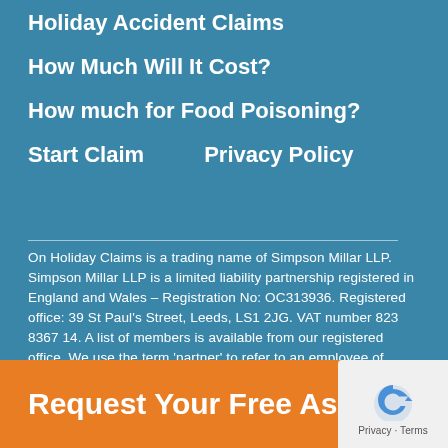Holiday Accident Claims
How Much Will It Cost?
How much for Food Poisoning?
Start Claim
Privacy Policy
On Holiday Claims is a trading name of Simpson Millar LLP. Simpson Millar LLP is a limited liability partnership registered in England and Wales – Registration No: OC313936. Registered office: 39 St Paul's Street, Leeds, LS1 2JG. VAT number 823 8367 14. A list of members is available from our registered office. We use the term 'partner' to refer to an employee of equivalent standing to that of a partner in a
Request Your Free Assessment